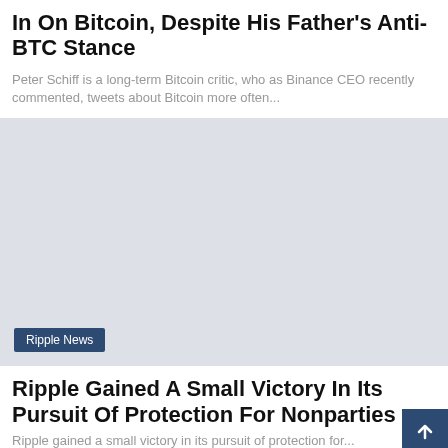In On Bitcoin, Despite His Father's Anti-BTC Stance
Peter Schiff is a long-term Bitcoin critic, who as Binance CEO recently commented, tweets about Bitcoin more often...
[Figure (photo): Gray placeholder image area for an article about Ripple News]
Ripple News
Ripple Gained A Small Victory In Its Pursuit Of Protection For Nonparties
Ripple gained a small victory in its pursuit of protection for...